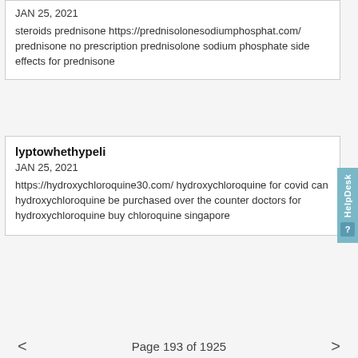JAN 25, 2021
steroids prednisone https://prednisolonesodiumphosphat.com/ prednisone no prescription prednisolone sodium phosphate side effects for prednisone
lyptowhethypeli
JAN 25, 2021
https://hydroxychloroquine30.com/ hydroxychloroquine for covid can hydroxychloroquine be purchased over the counter doctors for hydroxychloroquine buy chloroquine singapore
Page 193 of 1925